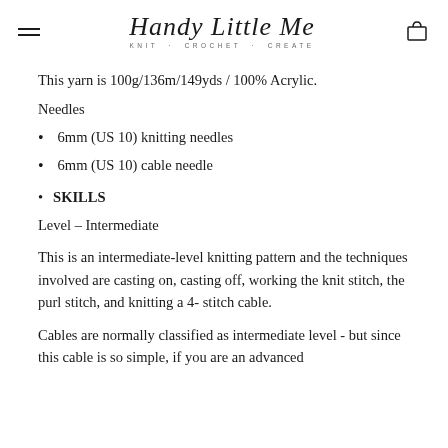Handy Little Me – KNIT · CROCHET · CREATE
This yarn is 100g/136m/149yds / 100% Acrylic.
Needles
6mm (US 10) knitting needles
6mm (US 10) cable needle
SKILLS
Level – Intermediate
This is an intermediate-level knitting pattern and the techniques involved are casting on, casting off, working the knit stitch, the purl stitch, and knitting a 4- stitch cable.
Cables are normally classified as intermediate level - but since this cable is so simple, if you are an advanced